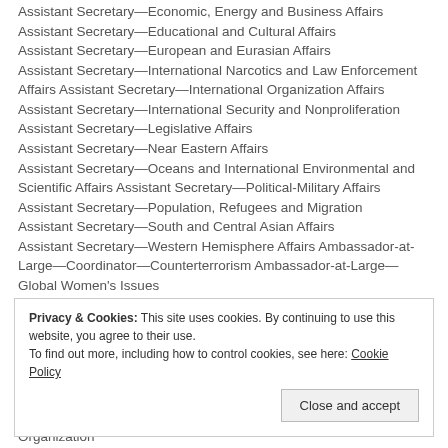Assistant Secretary—Economic, Energy and Business Affairs
Assistant Secretary—Educational and Cultural Affairs
Assistant Secretary—European and Eurasian Affairs
Assistant Secretary—International Narcotics and Law Enforcement Affairs
Assistant Secretary—International Organization Affairs
Assistant Secretary—International Security and Nonproliferation
Assistant Secretary—Legislative Affairs
Assistant Secretary—Near Eastern Affairs
Assistant Secretary—Oceans and International Environmental and Scientific Affairs
Assistant Secretary—Political-Military Affairs
Assistant Secretary—Population, Refugees and Migration
Assistant Secretary—South and Central Asian Affairs
Assistant Secretary—Western Hemisphere Affairs
Ambassador-at-Large—Coordinator—Counterterrorism
Ambassador-at-Large—Global Women's Issues
Privacy & Cookies: This site uses cookies. By continuing to use this website, you agree to their use.
To find out more, including how to control cookies, see here: Cookie Policy
U.S. Permanent Representative to the North Atlantic Treaty Organization